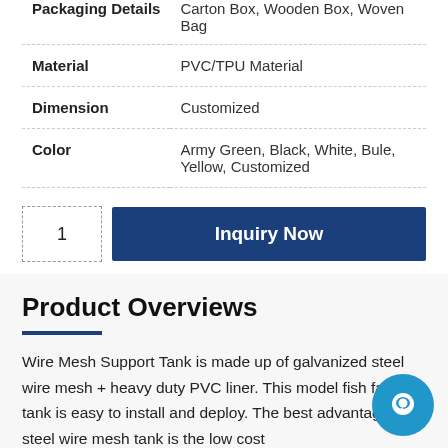| Property | Value |
| --- | --- |
| Packaging Details | Carton Box, Wooden Box, Woven Bag |
| Material | PVC/TPU Material |
| Dimension | Customized |
| Color | Army Green, Black, White, Bule, Yellow, Customized |
1
Inquiry Now
Product Overviews
Wire Mesh Support Tank is made up of galvanized steel wire mesh + heavy duty PVC liner. This model fish farming tank is easy to install and deploy. The best advantage of steel wire mesh tank is the low cost